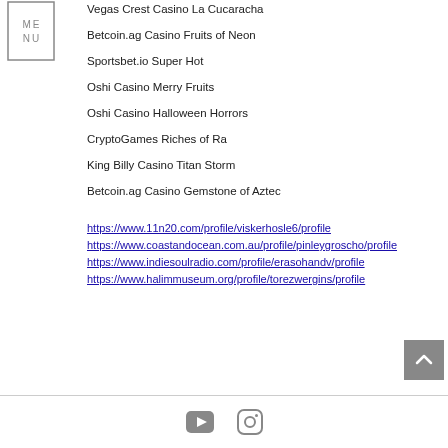[Figure (logo): Menu logo with text ME NU inside a rectangular border]
Vegas Crest Casino La Cucaracha
Betcoin.ag Casino Fruits of Neon
Sportsbet.io Super Hot
Oshi Casino Merry Fruits
Oshi Casino Halloween Horrors
CryptoGames Riches of Ra
King Billy Casino Titan Storm
Betcoin.ag Casino Gemstone of Aztec
https://www.11n20.com/profile/viskerhosle6/profile
https://www.coastandocean.com.au/profile/pinleygroscho/profile
https://www.indiesoulradio.com/profile/erasohandv/profile
https://www.halimmuseum.org/profile/torezwergins/profile
[Figure (other): Back to top button with upward arrow on grey background]
YouTube and Instagram icons in footer bar